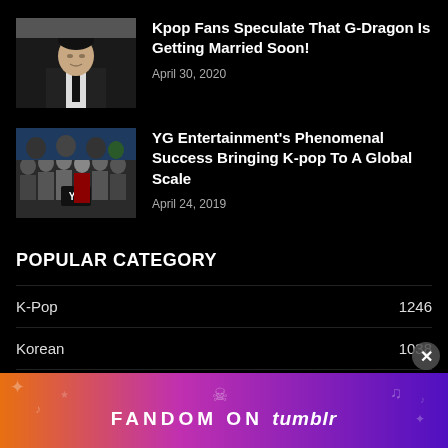[Figure (photo): Thumbnail photo of G-Dragon in a suit]
Kpop Fans Speculate That G-Dragon Is Getting Married Soon!
April 30, 2020
[Figure (photo): Thumbnail photo of YG Entertainment group]
YG Entertainment's Phenomenal Success Bringing K-pop To A Global Scale
April 24, 2019
POPULAR CATEGORY
K-Pop	1246
Korean	1038
News	902
Celebrities	...
[Figure (infographic): Fandom on Tumblr advertisement banner with colorful gradient background]